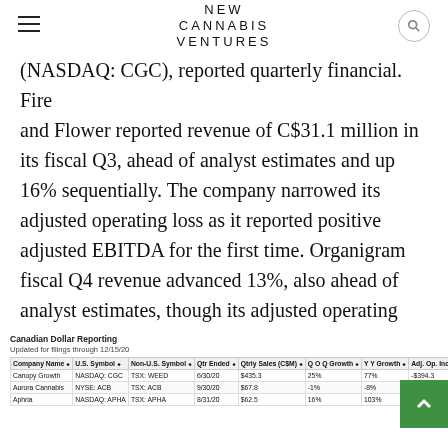NEW CANNABIS VENTURES
(NASDAQ: CGC), reported quarterly financial. Fire and Flower reported revenue of C$31.1 million in its fiscal Q3, ahead of analyst estimates and up 16% sequentially. The company narrowed its adjusted operating loss as it reported positive adjusted EBITDA for the first time. Organigram fiscal Q4 revenue advanced 13%, also ahead of analyst estimates, though its adjusted operating loss was negatively impacted by one-time charges.
Canadian Dollar Reporting
Updated for filings through 12/15/20
| Company Name | U.S. Symbol | Non-U.S. Symbol | Qtr Ended | Qtrly Sales (C$M) | Q O Q Growth | Y Y Growth | Adj. Op. Income |
| --- | --- | --- | --- | --- | --- | --- | --- |
| Canopy Growth | NASDAQ: CGC | TSX: WEED | 6/30/20 | $435.3 | 25% | 77% | -$394.3 |
| Aurora Cannabis | NYSE: ACB | TSX: ACB | 9/30/20 | $67.8 | -1% | -8% | -$44.4 |
| Aphria | NASDAQ: APHA | TSX: APHA | 8/31/20 | $62.5 | 16% | 103% | -$8.5 | -$974421 |